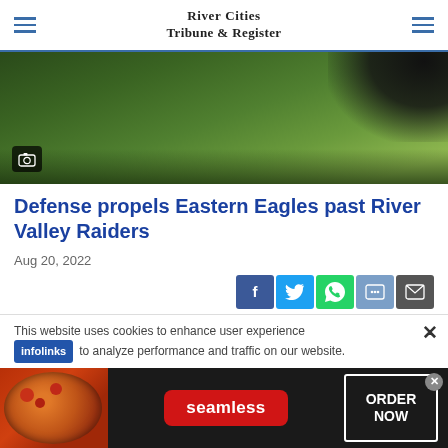River Cities Tribune & Register
[Figure (photo): Football field grass with dark figure visible at top right, partial action shot]
Defense propels Eastern Eagles past River Valley Raiders
Aug 20, 2022
[Figure (infographic): Social share buttons: Facebook, Twitter, WhatsApp, Messenger, Email]
This website uses cookies to enhance user experience and to analyze performance and traffic on our website.
[Figure (infographic): Seamless food delivery advertisement banner with pizza image, ORDER NOW button]